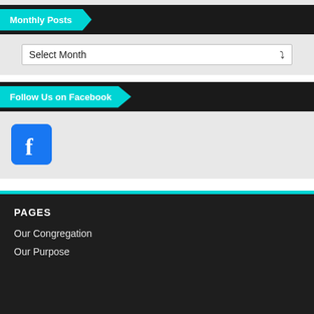Monthly Posts
Select Month
Follow Us on Facebook
[Figure (logo): Facebook logo icon — blue rounded square with white 'f']
PAGES
Our Congregation
Our Purpose